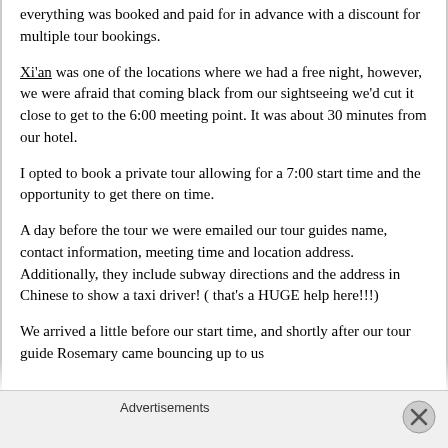everything was booked and paid for in advance with a discount for multiple tour bookings.
Xi'an was one of the locations where we had a free night, however, we were afraid that coming black from our sightseeing we'd cut it close to get to the 6:00 meeting point. It was about 30 minutes from our hotel.
I opted to book a private tour allowing for a 7:00 start time and the opportunity to get there on time.
A day before the tour we were emailed our tour guides name, contact information, meeting time and location address. Additionally, they include subway directions and the address in Chinese to show a taxi driver! ( that's a HUGE help here!!!)
We arrived a little before our start time, and shortly after our tour guide Rosemary came bouncing up to us
Advertisements